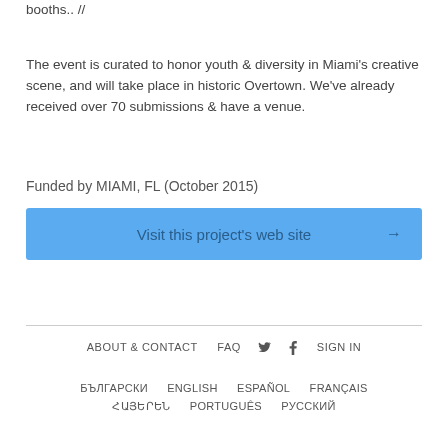booths.. //
The event is curated to honor youth & diversity in Miami's creative scene, and will take place in historic Overtown. We've already received over 70 submissions & have a venue.
Funded by MIAMI, FL (October 2015)
Visit this project's web site →
ABOUT & CONTACT   FAQ   [twitter]   [facebook]   SIGN IN
БЪЛГАРСКИ   ENGLISH   ESPAÑOL   FRANÇAIS   ՀԱՅԵՐԵՆ   PORTUGUÊS   РУССКИЙ